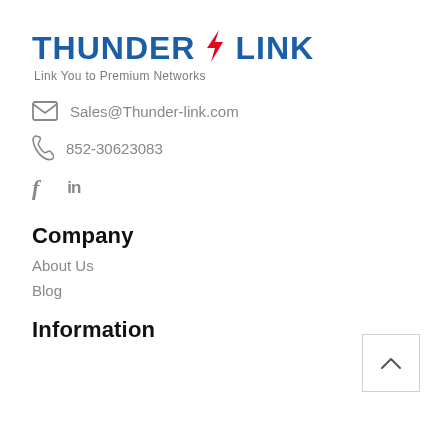[Figure (logo): ThunderLink logo with lightning bolt between THUNDER and LINK, tagline: Link You to Premium Networks]
Sales@Thunder-link.com
852-30623083
f  in
Company
About Us
Blog
Information